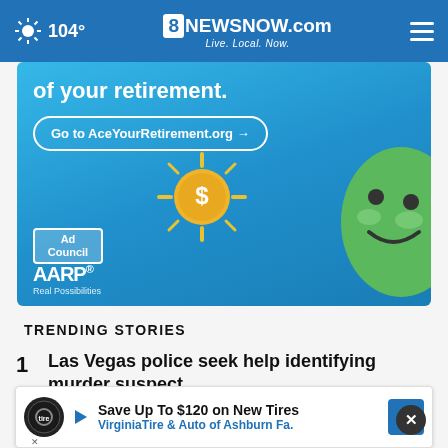104° 8NewsNow.com Live. Local. Now.
[Figure (advertisement): AARP retirement ad banner with text 'of your retirement.' and button 'Go to AceYourRetirement.org →', Ad Council and AARP logos, green smiley character, gold coin with dollar sign]
TRENDING STORIES
1 Las Vegas police seek help identifying murder suspect
2 M... d... plea
[Figure (advertisement): Tire Auto ad: Save Up To $120 on New Tires — Virginia Tire & Auto of Ashburn Fa.]